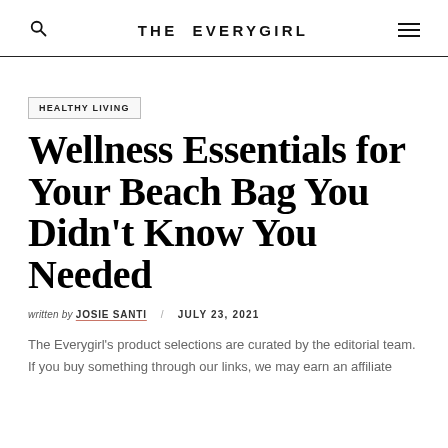THE EVERYGIRL
HEALTHY LIVING
Wellness Essentials for Your Beach Bag You Didn't Know You Needed
written by JOSIE SANTI / JULY 23, 2021
The Everygirl's product selections are curated by the editorial team. If you buy something through our links, we may earn an affiliate